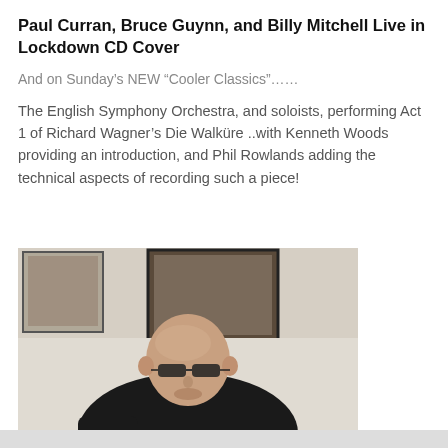Paul Curran, Bruce Guynn, and Billy Mitchell Live in Lockdown CD Cover
And on Sunday's NEW “Cooler Classics”……
The English Symphony Orchestra, and soloists, performing Act 1 of Richard Wagner’s Die Walküre ..with Kenneth Woods providing an introduction, and Phil Rowlands adding the technical aspects of recording such a piece!
[Figure (photo): A bald man wearing glasses and a black shirt, seated in front of framed artwork on a wall.]